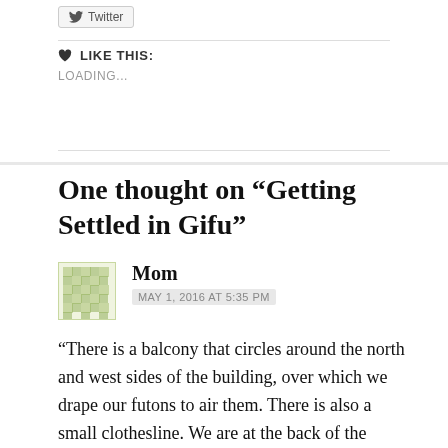[Figure (other): Twitter share button with bird icon]
♥ LIKE THIS:
LOADING...
One thought on “Getting Settled in Gifu”
Mom
MAY 1, 2016 AT 5:35 PM
“There is a balcony that circles around the north and west sides of the building, over which we drape our futons to air them. There is also a small clothesline. We are at the back of the building so we look over a courtyard of sorts along with